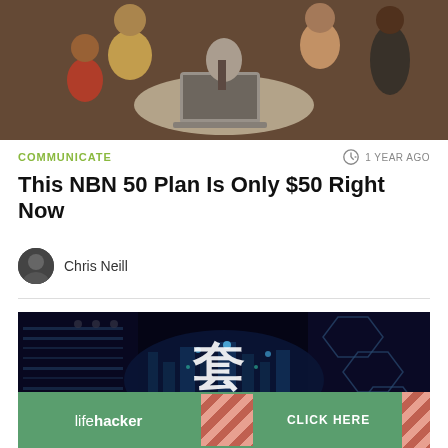[Figure (photo): Group of people gathered around a laptop at a white round table, looking excited]
COMMUNICATE
1 YEAR AGO
This NBN 50 Plan Is Only $50 Right Now
Chris Neill
[Figure (photo): Dark futuristic city scene with Chinese character 套 and text INTERNET 2021, with a Lifehacker ad banner overlaid at the bottom showing 'lifehacker' logo and 'CLICK HERE' button]